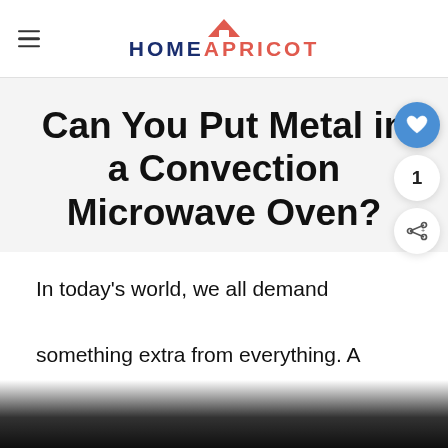HOMEAPRICOT
Can You Put Metal in a Convection Microwave Oven?
In today's world, we all demand something extra from everything. A